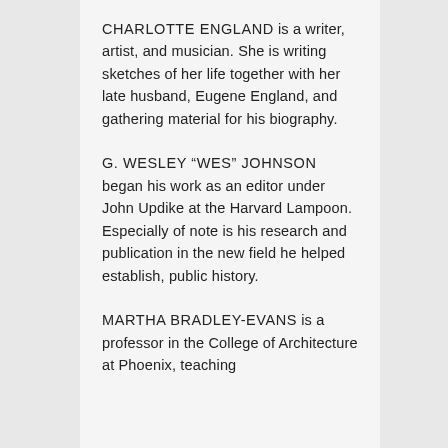CHARLOTTE ENGLAND is a writer, artist, and musician. She is writing sketches of her life together with her late husband, Eugene England, and gathering material for his biography.
G. WESLEY “WES” JOHNSON began his work as an editor under John Updike at the Harvard Lampoon. Especially of note is his research and publication in the new field he helped establish, public history.
MARTHA BRADLEY-EVANS is a professor in the College of Architecture at Phoenix, teaching